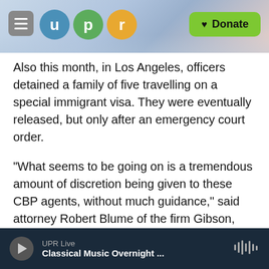UPR — u p r — Donate
Also this month, in Los Angeles, officers detained a family of five travelling on a special immigrant visa. They were eventually released, but only after an emergency court order.
"What seems to be going on is a tremendous amount of discretion being given to these CBP agents, without much guidance," said attorney Robert Blume of the firm Gibson, Dunn and Crutcher, which is representing the family.
A week after landing in the U.S., Mahrammi and his family will be taken away from the country.
UPR Live — Classical Music Overnight ...